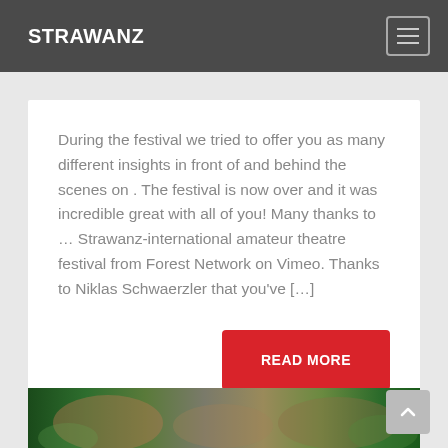STRAWANZ
During the festival we tried to offer you as many different insights in front of and behind the scenes on . The festival is now over and it was incredible great with all of you! Many thanks to … Strawanz-international amateur theatre festival from Forest Network on Vimeo. Thanks to Niklas Schwaerzler that you've […]
READ MORE
[Figure (photo): A blurred photo strip showing people at what appears to be a festival or theatre event with green and warm tones]